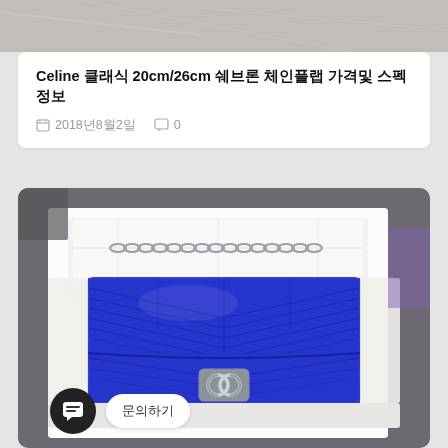[Figure (photo): Cropped top portion of a marble-like surface, partially visible product image strip at top of page]
Celine 클래식 20cm/26cm 쉐브론 체인플랩 가격및 스펙정보
2018년8월2일  0
[Figure (photo): A blue Chanel chevron quilted lambskin flap bag with silver chain strap and CC logo clasp, displayed in white box packaging on a glass surface]